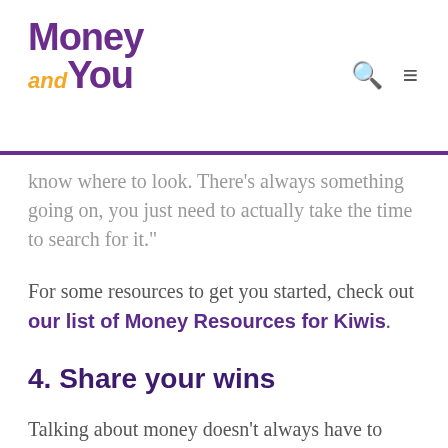Money and You
know where to look. There's always something going on, you just need to actually take the time to search for it."
For some resources to get you started, check out our list of Money Resources for Kiwis.
4. Share your wins
Talking about money doesn't always have to focus on the things you've done wrong - it can be about the highlights, too.